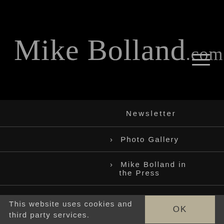Mike Bolland.com
Newsletter
> Photo Gallery
> Mike Bolland in the Press
© 2015 - 2022 Mike Bolland Dot Com
This website uses cookies and third party services.